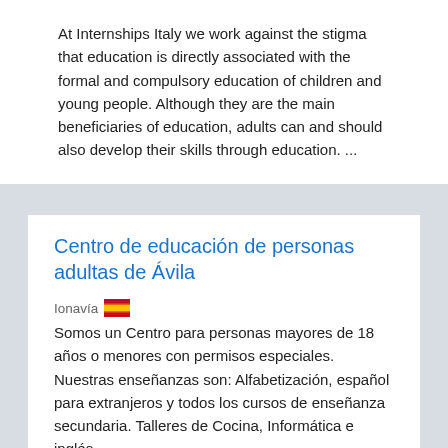At Internships Italy we work against the stigma that education is directly associated with the formal and compulsory education of children and young people. Although they are the main beneficiaries of education, adults can and should also develop their skills through education. ...
Centro de educación de personas adultas de Ávila
Ionavia 🇪🇸
Somos un Centro para personas mayores de 18 años o menores con permisos especiales. Nuestras enseñanzas son: Alfabetización, español para extranjeros y todos los cursos de enseñanza secundaria. Talleres de Cocina, Informática e inglés.